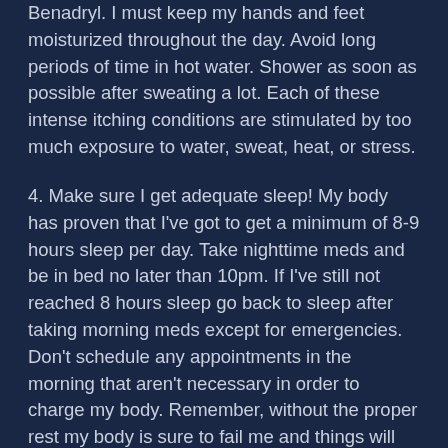Benadryl. I must keep my hands and feet moisturized throughout the day. Avoid long periods of time in hot water. Shower as soon as possible after sweating a lot. Each of these intense itching conditions are stimulated by too much exposure to water, sweat, heat, or stress.
4. Make sure I get adequate sleep! My body has proven that I've got to get a minimum of 8-9 hours sleep per day. Take nighttime meds and be in bed no later than 10pm. If I've still not reached 8 hours sleep go back to sleep after taking morning meds except for emergencies. Don't schedule any appointments in the morning that aren't necessary in order to charge my body. Remember, without the proper rest my body is sure to fail me and things will roll down hill quickly.
5. Don't over commit and stick to the following major priorities. Do what you know you have to do to stay healthy, love your wife, love your children and lead God's church in a